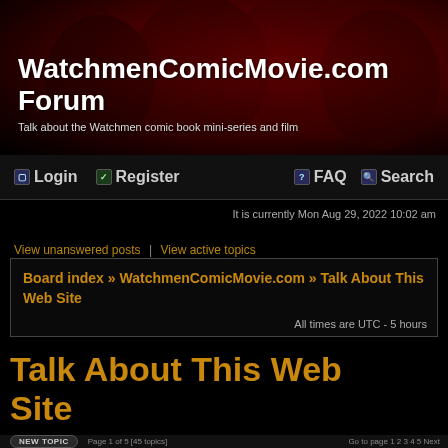WatchmenComicMovie.com Forum
Talk about the Watchmen comic book mini-series and film
Login | Register | FAQ | Search
It is currently Mon Aug 29, 2022 10:02 am
View unanswered posts | View active topics
Board index » WatchmenComicMovie.com » Talk About This Web Site
All times are UTC - 5 hours
Talk About This Web Site
NEW TOPIC | Page 1 of 5 [45 topics]